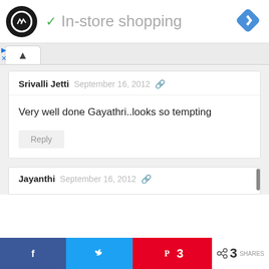[Figure (screenshot): App logo: black circle with double arrow icon inside]
✓ In-store shopping
[Figure (logo): Blue navigation diamond icon]
Srivalli Jetti  September 16, 2012
Very well done Gayathri..looks so tempting
Reply
Jayanthi  September 16, 2012
Facebook  Twitter  Pinterest 3  < 3 SHARES